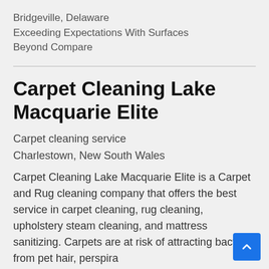Bridgeville, Delaware
Exceeding Expectations With Surfaces Beyond Compare
Carpet Cleaning Lake Macquarie Elite
Carpet cleaning service
Charlestown, New South Wales
Carpet Cleaning Lake Macquarie Elite is a Carpet and Rug cleaning company that offers the best service in carpet cleaning, rug cleaning, upholstery steam cleaning, and mattress sanitizing. Carpets are at risk of attracting bacteria from pet hair, perspira